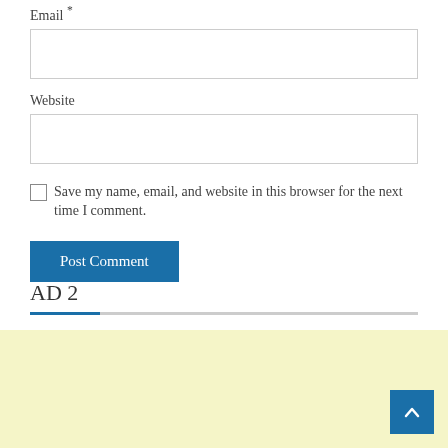Email *
Website
Save my name, email, and website in this browser for the next time I comment.
Post Comment
AD 2